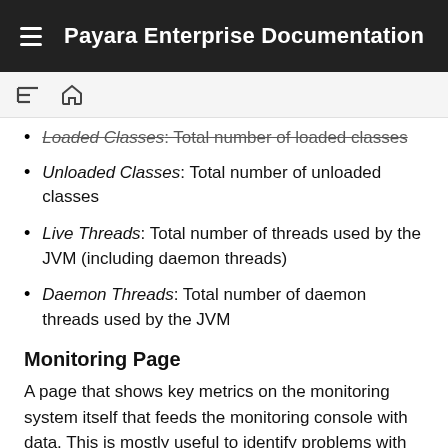Payara Enterprise Documentation
Loaded Classes: Total number of loaded classes
Unloaded Classes: Total number of unloaded classes
Live Threads: Total number of threads used by the JVM (including daemon threads)
Daemon Threads: Total number of daemon threads used by the JVM
Monitoring Page
A page that shows key metrics on the monitoring system itself that feeds the monitoring console with data. This is mostly useful to identify problems with